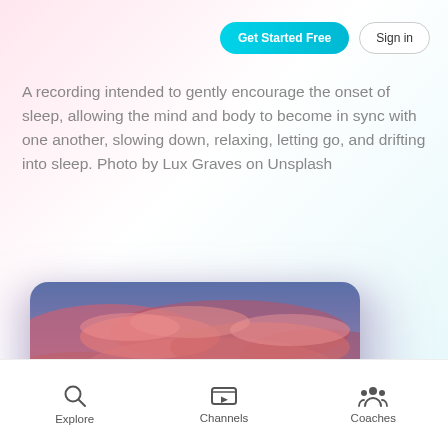Get Started Free
Sign in
A recording intended to gently encourage the onset of sleep, allowing the mind and body to become in sync with one another, slowing down, relaxing, letting go, and drifting into sleep. Photo by Lux Graves on Unsplash
[Figure (photo): Phone screen showing a vibrant sunset sky with red and pink clouds, displayed in a rounded rectangle card with a purple glow effect behind it. The background has a soft pink-to-teal gradient.]
Explore
Channels
Coaches